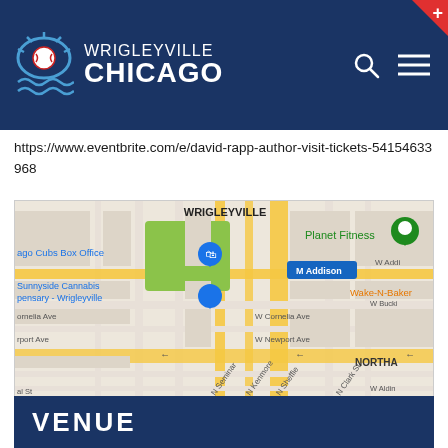WRIGLEYVILLE CHICAGO
https://www.eventbrite.com/e/david-rapp-author-visit-tickets-54154633968
[Figure (map): Google Map screenshot showing Wrigleyville neighborhood in Chicago. Landmarks visible: Planet Fitness (green pin), ago Cubs Box Office (blue pin), Sunnyside Cannabis pensary - Wrigleyville (blue pin), M Addison (transit), W Addison St, Wake-N-Baker, W Cornelia Ave, W Newport Ave, N Seminary, N Kenmore, N Sheffield, N Clark St, W Buckingham, W Aldine, NORTHAMPTON label. Area labeled WRIGLEYVILLE at top.]
VENUE